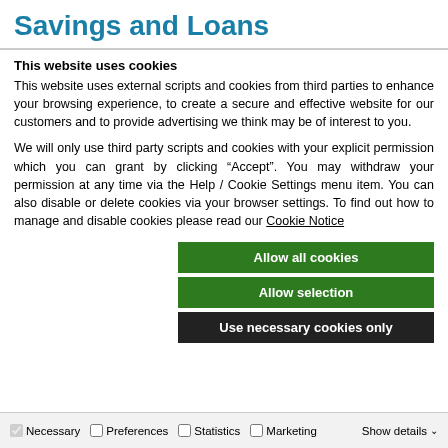Savings and Loans
This website uses cookies
This website uses external scripts and cookies from third parties to enhance your browsing experience, to create a secure and effective website for our customers and to provide advertising we think may be of interest to you.
We will only use third party scripts and cookies with your explicit permission which you can grant by clicking “Accept”. You may withdraw your permission at any time via the Help / Cookie Settings menu item. You can also disable or delete cookies via your browser settings. To find out how to manage and disable cookies please read our Cookie Notice
Allow all cookies
Allow selection
Use necessary cookies only
Necessary   Preferences   Statistics   Marketing   Show details